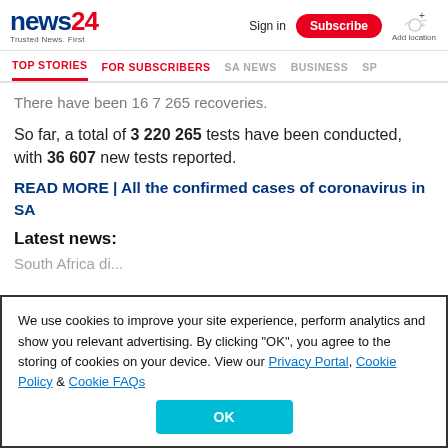[Figure (logo): news24 logo with tagline 'Trusted News. First']
Sign in | Subscribe | Add location
TOP STORIES | FOR SUBSCRIBERS | SA NEWS | BUSINESS | SP
There have been 16 7 265 recoveries.
So far, a total of 3 220 265 tests have been conducted, with 36 607 new tests reported.
READ MORE | All the confirmed cases of coronavirus in SA
Latest news:
South Africa dis...
We use cookies to improve your site experience, perform analytics and show you relevant advertising. By clicking "OK", you agree to the storing of cookies on your device. View our Privacy Portal, Cookie Policy & Cookie FAQs